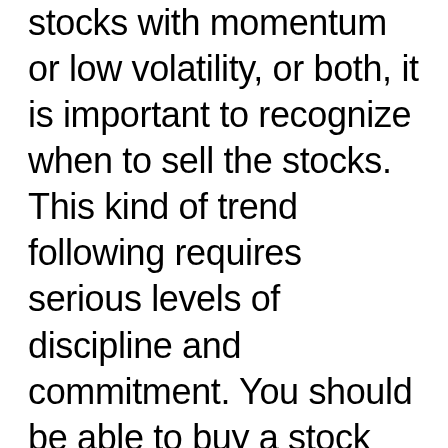stocks with momentum or low volatility, or both, it is important to recognize when to sell the stocks. This kind of trend following requires serious levels of discipline and commitment. You should be able to buy a stock without question and sell it without question in a short period of time if it no longer has enough momentum and/or low volatility. If you get distracted by the stocks' valuation, ROE, etc. and hesitate or buy more than necessary, it will not work. Please